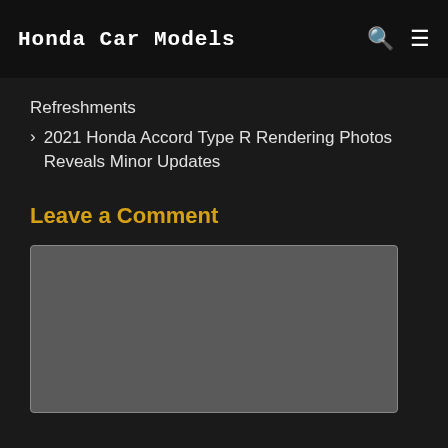Honda Car Models
Refreshments
2021 Honda Accord Type R Rendering Photos Reveals Minor Updates
Leave a Comment
[Figure (other): Empty comment text area input box with grey background and border]